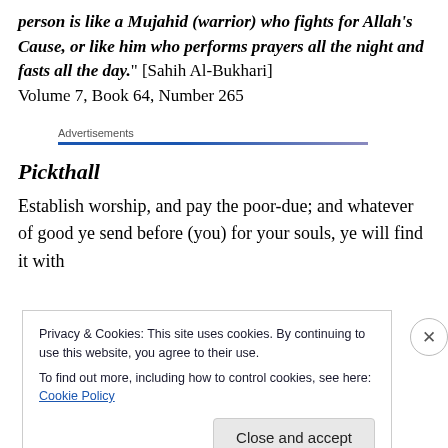person is like a Mujahid (warrior) who fights for Allah's Cause, or like him who performs prayers all the night and fasts all the day." [Sahih Al-Bukhari] Volume 7, Book 64, Number 265
Advertisements
Pickthall
Establish worship, and pay the poor-due; and whatever of good ye send before (you) for your souls, ye will find it with
Privacy & Cookies: This site uses cookies. By continuing to use this website, you agree to their use.
To find out more, including how to control cookies, see here: Cookie Policy